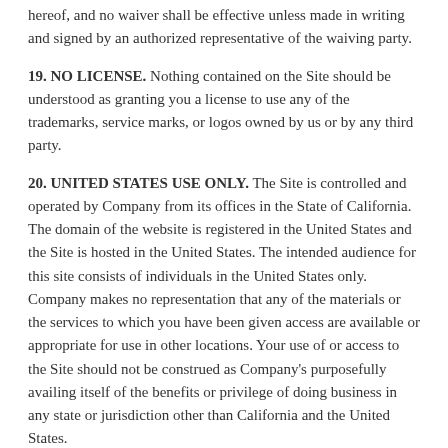hereof, and no waiver shall be effective unless made in writing and signed by an authorized representative of the waiving party.
19. NO LICENSE. Nothing contained on the Site should be understood as granting you a license to use any of the trademarks, service marks, or logos owned by us or by any third party.
20. UNITED STATES USE ONLY. The Site is controlled and operated by Company from its offices in the State of California. The domain of the website is registered in the United States and the Site is hosted in the United States. The intended audience for this site consists of individuals in the United States only. Company makes no representation that any of the materials or the services to which you have been given access are available or appropriate for use in other locations. Your use of or access to the Site should not be construed as Company's purposefully availing itself of the benefits or privilege of doing business in any state or jurisdiction other than California and the United States.